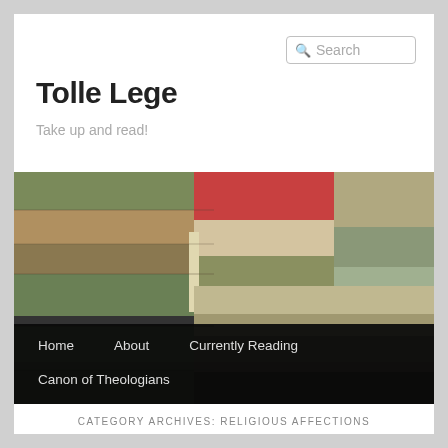Search
Tolle Lege
Take up and read!
[Figure (photo): Stack of old hardback books in greens, reds, and tans arranged horizontally as a hero/banner image]
Home
About
Currently Reading
Canon of Theologians
CATEGORY ARCHIVES: RELIGIOUS AFFECTIONS